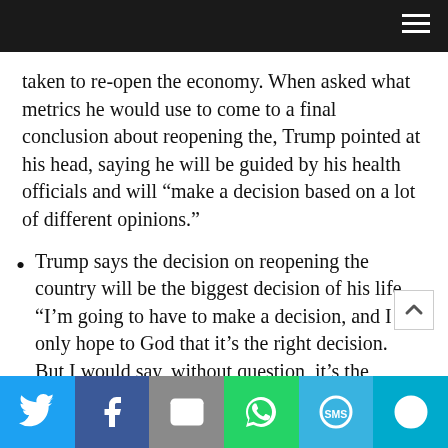taken to re-open the economy. When asked what metrics he would use to come to a final conclusion about reopening the, Trump pointed at his head, saying he will be guided by his health officials and will “make a decision based on a lot of different opinions.”
Trump says the decision on reopening the country will be the biggest decision of his life. “I’m going to have to make a decision, and I only hope to God that it’s the right decision.  But I would say, without question, it’s the biggest decision I’ve ever had to make.”
Social share bar: Twitter, Facebook, Email, WhatsApp, SMS, More